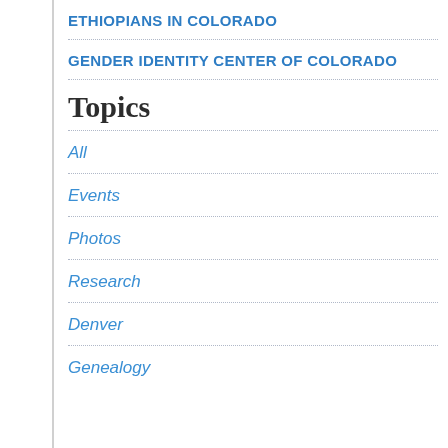ETHIOPIANS IN COLORADO
GENDER IDENTITY CENTER OF COLORADO
Topics
All
Events
Photos
Research
Denver
Genealogy